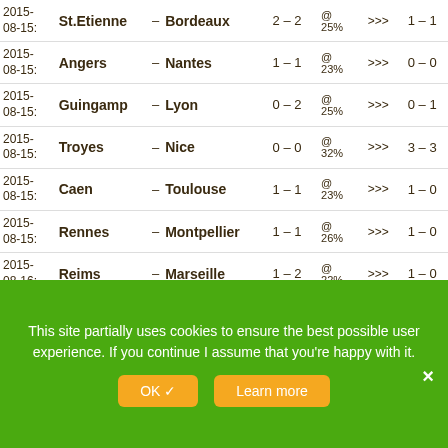| Date | Home |  | Away | Score | @% | >>> | Pred |
| --- | --- | --- | --- | --- | --- | --- | --- |
| 2015-08-15: | St.Etienne | – | Bordeaux | 2 – 2 | @ 25% | >>> | 1 – 1 |
| 2015-08-15: | Angers | – | Nantes | 1 – 1 | @ 23% | >>> | 0 – 0 |
| 2015-08-15: | Guingamp | – | Lyon | 0 – 2 | @ 25% | >>> | 0 – 1 |
| 2015-08-15: | Troyes | – | Nice | 0 – 0 | @ 32% | >>> | 3 – 3 |
| 2015-08-15: | Caen | – | Toulouse | 1 – 1 | @ 23% | >>> | 1 – 0 |
| 2015-08-15: | Rennes | – | Montpellier | 1 – 1 | @ 26% | >>> | 1 – 0 |
| 2015-08-16: | Reims | – | Marseille | 1 – 2 | @ 22% | >>> | 1 – 0 |
| 2015-08-16: | Lorient | – | Bastia | 1 – 1 | @ 21% | >>> | 1 – 1 |
| 2015-... | Paris | – | GFC |  | @ |  |  |
This site partially uses cookies to ensure the best possible user experience. If you continue I assume that you're happy with it.